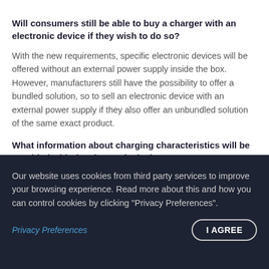Will consumers still be able to buy a charger with an electronic device if they wish to do so?
With the new requirements, specific electronic devices will be offered without an external power supply inside the box. However, manufacturers still have the possibility to offer a bundled solution, so to sell an electronic device with an external power supply if they also offer an unbundled solution of the same exact product.
What information about charging characteristics will be provided with the electronic device?
The proposal requires operators to provide more information about charging characteristics of electronic devices. The proposal
Our website uses cookies from third party services to improve your browsing experience. Read more about this and how you can control cookies by clicking "Privacy Preferences".
Privacy Preferences
I AGREE